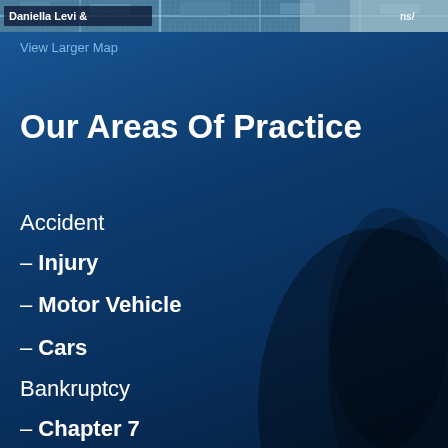[Figure (map): Aerial satellite map strip showing urban grid/streets at top of page with 'Daniella Levi &' text label visible]
View Larger Map
Our Areas Of Practice
Accident
– Injury
– Motor Vehicle
– Cars
Bankruptcy
– Chapter 7
Divorce